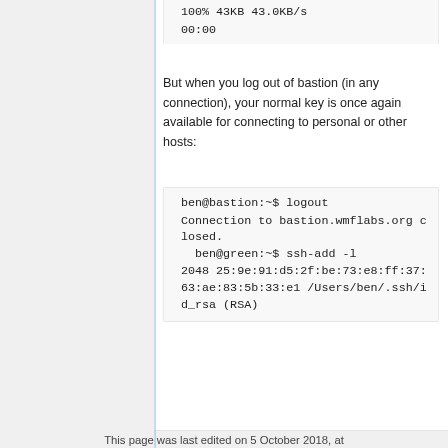100%      43KB    43.0KB/s
00:00
But when you log out of bastion (in any connection), your normal key is once again available for connecting to personal or other hosts:
ben@bastion:~$ logout
Connection to bastion.wmflabs.org closed.
  ben@green:~$ ssh-add -l
2048 25:9e:91:d5:2f:be:73:e8:ff:37:63:ae:83:5b:33:e1 /Users/ben/.ssh/id_rsa (RSA)
This page was last edited on 5 October 2018, at